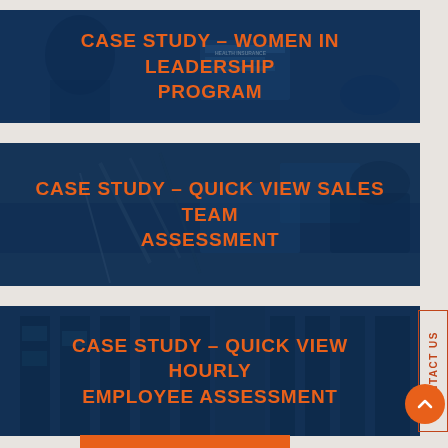[Figure (photo): Blue-tinted photo of person reviewing health insurance documents with title overlay]
CASE STUDY – WOMEN IN LEADERSHIP PROGRAM
[Figure (photo): Blue-tinted photo of office desk with tools and papers with title overlay]
CASE STUDY – QUICK VIEW SALES TEAM ASSESSMENT
[Figure (photo): Blue-tinted aerial photo of warehouse or factory floor with title overlay]
CASE STUDY – QUICK VIEW HOURLY EMPLOYEE ASSESSMENT